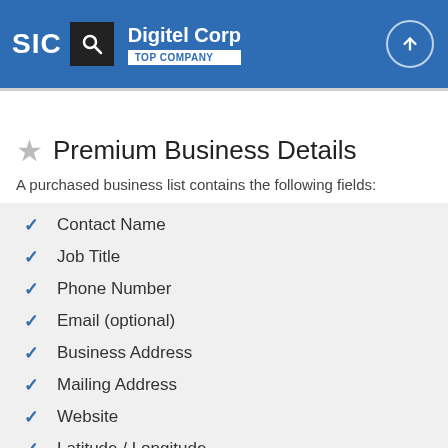SIC | Digitel Corp | TOP COMPANY
Premium Business Details
A purchased business list contains the following fields:
Contact Name
Job Title
Phone Number
Email (optional)
Business Address
Mailing Address
Website
Latitude / Longitude
Modeled Credit Rating